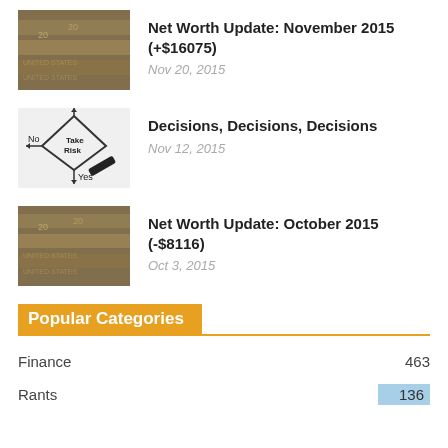[Figure (photo): Stack of US dollar bills, money photo thumbnail]
Net Worth Update: November 2015 (+$16075)
Nov 20, 2015
[Figure (illustration): Decision flowchart with diamond shape labeled Take Risk, arrows for No and Yes]
Decisions, Decisions, Decisions
Nov 12, 2015
[Figure (photo): Stack of US dollar bills, money photo thumbnail]
Net Worth Update: October 2015 (-$8116)
Oct 3, 2015
Popular Categories
Finance 463
Rants 136